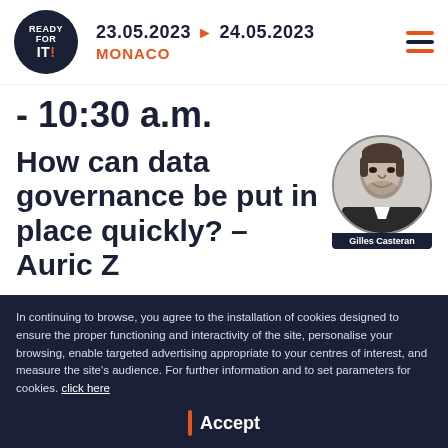23.05.2023 → 24.05.2023 MONACO
- 10:30 a.m.
How can data governance be put in place quickly? – Auric Z
[Figure (photo): Circular black-and-white portrait photo of Gilles Casteran with name tag]
In continuing to browse, you agree to the installation of cookies designed to ensure the proper functioning and interactivity of the site, personalise your browsing, enable targeted advertising appropriate to your centres of interest, and measure the site's audience. For further information and to set parameters for cookies.  click here
Accept